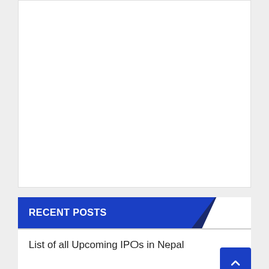[Figure (other): White rectangular content area / advertisement placeholder]
RECENT POSTS
List of all Upcoming IPOs in Nepal